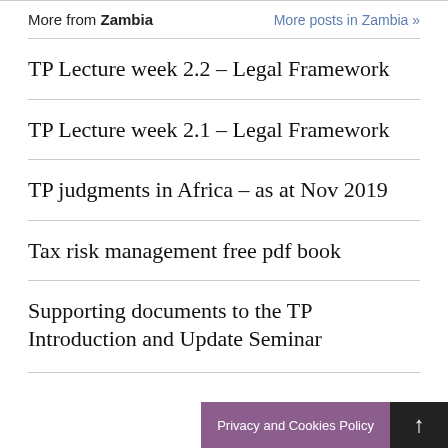More from Zambia
More posts in Zambia »
TP Lecture week 2.2 – Legal Framework
TP Lecture week 2.1 – Legal Framework
TP judgments in Africa – as at Nov 2019
Tax risk management free pdf book
Supporting documents to the TP Introduction and Update Seminar
Privacy and Cookies Policy